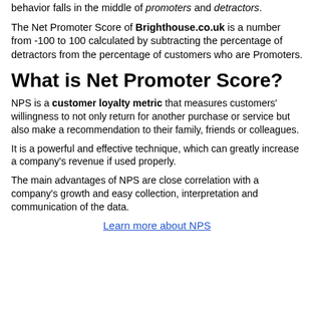Responses of 7 and 8 are labelled passives, and their behavior falls in the middle of promoters and detractors.
The Net Promoter Score of Brighthouse.co.uk is a number from -100 to 100 calculated by subtracting the percentage of detractors from the percentage of customers who are Promoters.
What is Net Promoter Score?
NPS is a customer loyalty metric that measures customers' willingness to not only return for another purchase or service but also make a recommendation to their family, friends or colleagues.
It is a powerful and effective technique, which can greatly increase a company's revenue if used properly.
The main advantages of NPS are close correlation with a company's growth and easy collection, interpretation and communication of the data.
Learn more about NPS